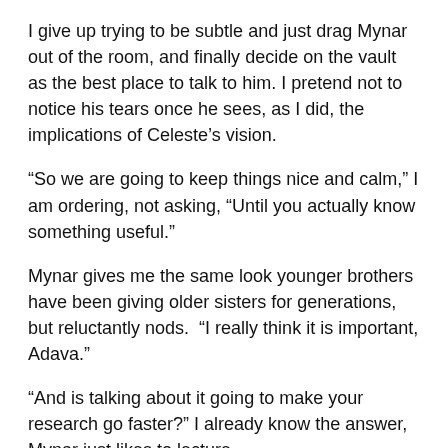I give up trying to be subtle and just drag Mynar out of the room, and finally decide on the vault as the best place to talk to him. I pretend not to notice his tears once he sees, as I did, the implications of Celeste's vision.
“So we are going to keep things nice and calm,” I am ordering, not asking, “Until you actually know something useful.”
Mynar gives me the same look younger brothers have been giving older sisters for generations, but reluctantly nods.  “I really think it is important, Adava.”
“And is talking about it going to make your research go faster?” I already know the answer, Mynar just likes to lecture.